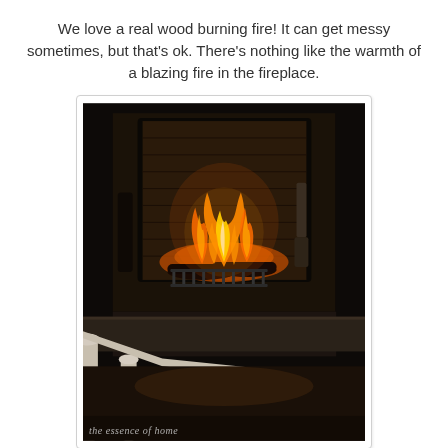We love a real wood burning fire!  It can get messy sometimes, but that's ok.  There's nothing like the warmth of a blazing fire in the fireplace.
[Figure (photo): A dark interior photo of a wood-burning fireplace with bright orange and yellow flames, logs on a grate, a stone surround, and a white wooden railing or banister in the foreground. A watermark reads 'the essence of home' in the lower left corner.]